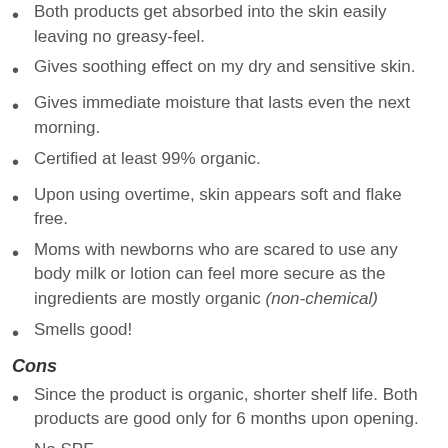Both products get absorbed into the skin easily leaving no greasy-feel.
Gives soothing effect on my dry and sensitive skin.
Gives immediate moisture that lasts even the next morning.
Certified at least 99% organic.
Upon using overtime, skin appears soft and flake free.
Moms with newborns who are scared to use any body milk or lotion can feel more secure as the ingredients are mostly organic (non-chemical)
Smells good!
Cons
Since the product is organic, shorter shelf life. Both products are good only for 6 months upon opening.
No SPF.
Price is both for a site with the main store around...